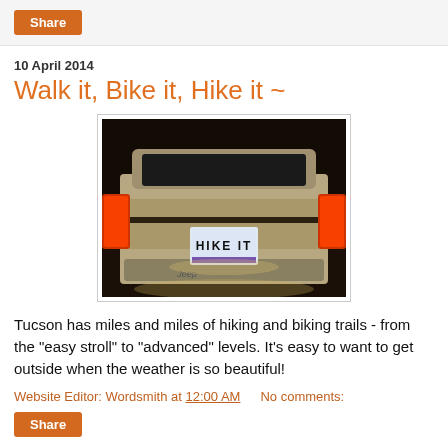Share
10 April 2014
Walk it, Bike it, Hike it ~
[Figure (photo): Rear of a Jeep SUV at night with a license plate reading HIKE IT]
Tucson has miles and miles of hiking and biking trails - from the "easy stroll" to "advanced" levels. It's easy to want to get outside when the weather is so beautiful!
Website Editor: Wordsmith at 12:00 AM   No comments:
Share